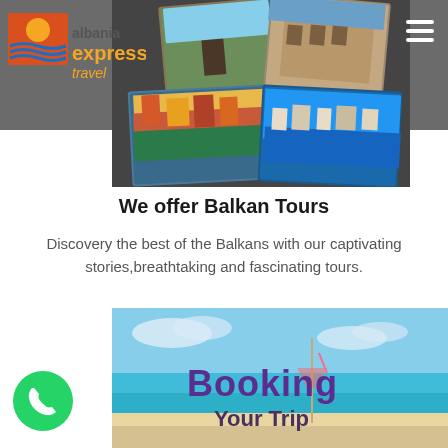[Figure (logo): Albania Express Travel logo — orange/red sun over blue waves with company name]
[Figure (photo): Collage of travel photos showing Balkan destinations — historical buildings, colorful coastal towns, aerial city views]
We offer Balkan Tours
Discovery the best of the Balkans with our captivating stories,breathtaking and fascinating tours.
[Figure (photo): Beach booking advertisement image with text 'Booking Your Trip', showing a tropical beach with turquoise water and a cocktail glass]
[Figure (illustration): WhatsApp green phone button in bottom left corner]